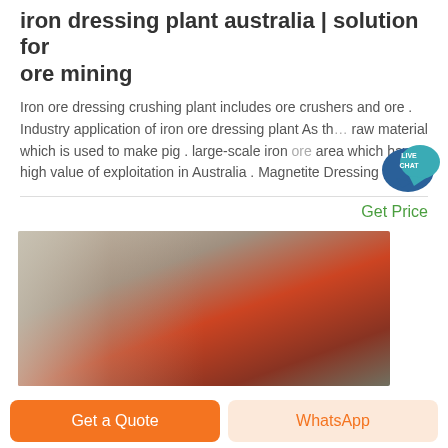iron dressing plant australia | solution for ore mining
Iron ore dressing crushing plant includes ore crushers and ore . Industry application of iron ore dressing plant As the raw material which is used to make pig . large-scale iron ore area which have high value of exploitation in Australia . Magnetite Dressing .
Get Price
[Figure (photo): Industrial factory interior showing a red vehicle or equipment cab in a warehouse/plant setting with overhead lighting]
Get a Quote
WhatsApp